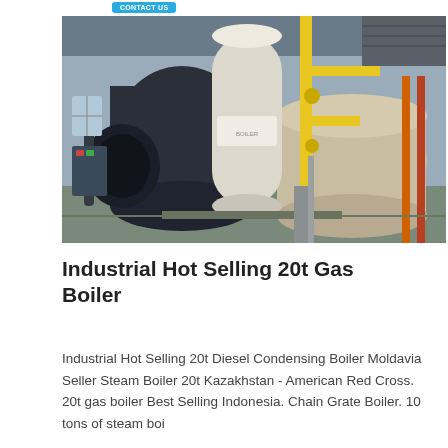[Figure (photo): Industrial gas boilers in a factory or installation facility. Two large cylindrical boilers visible — one dark navy/black on the left with a large burner assembly, and one beige/tan on the right with yellow gas piping infrastructure.]
Industrial Hot Selling 20t Gas Boiler
Industrial Hot Selling 20t Diesel Condensing Boiler Moldavia Seller Steam Boiler 20t Kazakhstan - American Red Cross. 20t gas boiler Best Selling Indonesia. Chain Grate Boiler. 10 tons of steam boi